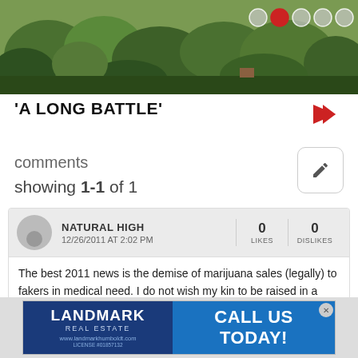[Figure (photo): Aerial/landscape photo of forested hillside with trees, with navigation dots overlay in top right]
'A LONG BATTLE'
comments
showing 1-1 of 1
NATURAL HIGH
12/26/2011 AT 2:02 PM
0 LIKES  0 DISLIKES
The best 2011 news is the demise of marijuana sales (legally) to fakers in medical need. I do not wish my kin to be raised in a doper culture - if the law is tough, so be it. Find something else to raise - you're all just a bunch of dopers/growers/pushers
[Figure (other): Advertisement for Landmark Real Estate with blue background. Left side: 'LANDMARK REAL ESTATE www.landmarkhumboldt.com LICENSE #01857132'. Right side: 'CALL US TODAY!' in white text on blue background.]